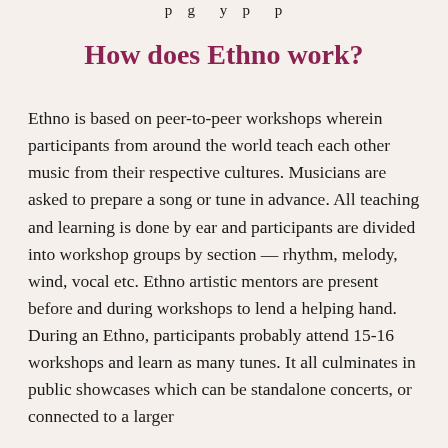p g y p p
How does Ethno work?
Ethno is based on peer-to-peer workshops wherein participants from around the world teach each other music from their respective cultures. Musicians are asked to prepare a song or tune in advance. All teaching and learning is done by ear and participants are divided into workshop groups by section — rhythm, melody, wind, vocal etc. Ethno artistic mentors are present before and during workshops to lend a helping hand. During an Ethno, participants probably attend 15-16 workshops and learn as many tunes. It all culminates in public showcases which can be standalone concerts, or connected to a larger